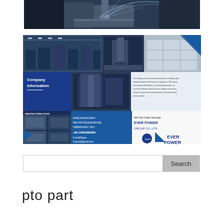[Figure (photo): CNC milling machine with metal chips flying, industrial manufacturing]
[Figure (infographic): Company Information banner for Ever Power Group Co., Ltd showing factory photos, contact details: MOBILE/WHATSAPP/WECHAT/TELEGRAM/LINE/VIBER/KAKAO TALK, +86-13083988828, E-mail/Skype: h.ptcorp@gmail.com, MR.Alan Sales Manager, EVER POWER GROUP CO.,LTD]
Search
pto part